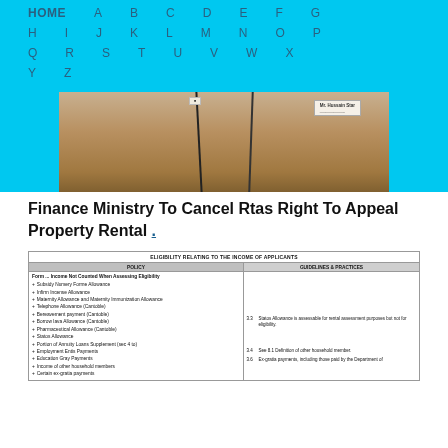HOME A B C D E F G H I J K L M N O P Q R S T U V W X Y Z
[Figure (photo): Photograph of cardboard boxes or packages strapped together, with a label visible on the right side.]
Finance Ministry To Cancel Rtas Right To Appeal Property Rental .
| ELIGIBILITY RELATING TO THE INCOME OF APPLICANTS |  |
| --- | --- |
| POLICY | GUIDELINES & PRACTICES |
| Form ... Income Not Counted When Assessing Eligibility |  |
| + Subsidy Nursery Forme Allowance |  |
| + Infirm Incense Allowance |  |
| + Maternity Allowance and Maternity Immunization Allowance |  |
| + Telephone Allowance (Cantoble) |  |
| + Bereavement payment (Cantoble) |  |
| + Borrow lava Allowance (Cantoble) |  |
| + Pharmaceutical Allowance (Cantoble) |  |
| + Statos Allowance | 3.3 Statos Allowance is assessable for rental assessment purposes but not for eligibility. |
| + Portion of Annuity Loans Supplement (sec 4 to) |  |
| + Employment Entis Payments |  |
| + Education Gray Payments |  |
| + Income of other household members | 3.4 See 8.1 Definition of other household member. |
| + Certain ex-gratia payments | 3.6 Ex-gratia payments, including those paid by the Department of |